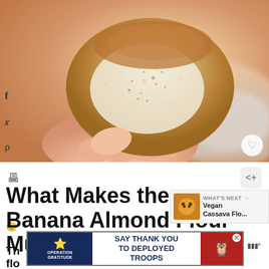[Figure (photo): A close-up photo of a hand holding a banana almond flour muffin with a bite taken out, showing the grainy interior texture. Background is blurred colorful fabric.]
What Makes these Banana Almond Flour Muffins Unique?
[Figure (other): WHAT'S NEXT popup with thumbnail of Vegan Cassava Flo... recipe]
[Figure (other): Advertisement banner: Operation Gratitude - SAY THANK YOU TO DEPLOYED TROOPS with patriotic imagery and owl mascot]
Th
flo